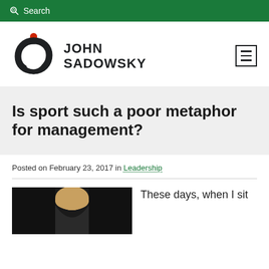Search
[Figure (logo): John Sadowsky logo with stylized S letter mark and red dot, plus hamburger menu icon]
Is sport such a poor metaphor for management?
Posted on February 23, 2017 in Leadership
[Figure (photo): Photo of a person with blonde hair in a dark setting]
These days, when I sit